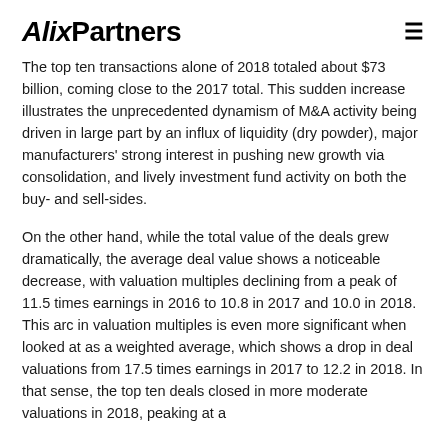AlixPartners
The top ten transactions alone of 2018 totaled about $73 billion, coming close to the 2017 total. This sudden increase illustrates the unprecedented dynamism of M&A activity being driven in large part by an influx of liquidity (dry powder), major manufacturers' strong interest in pushing new growth via consolidation, and lively investment fund activity on both the buy- and sell-sides.
On the other hand, while the total value of the deals grew dramatically, the average deal value shows a noticeable decrease, with valuation multiples declining from a peak of 11.5 times earnings in 2016 to 10.8 in 2017 and 10.0 in 2018. This arc in valuation multiples is even more significant when looked at as a weighted average, which shows a drop in deal valuations from 17.5 times earnings in 2017 to 12.2 in 2018. In that sense, the top ten deals closed in more moderate valuations in 2018, peaking at a